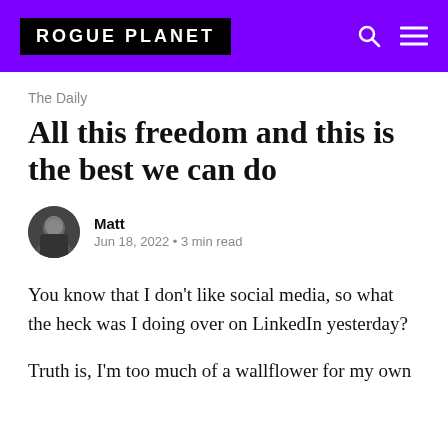ROGUE PLANET
The Daily
All this freedom and this is the best we can do
Matt
Jun 18, 2022 • 3 min read
You know that I don't like social media, so what the heck was I doing over on LinkedIn yesterday?
Truth is, I'm too much of a wallflower for my own